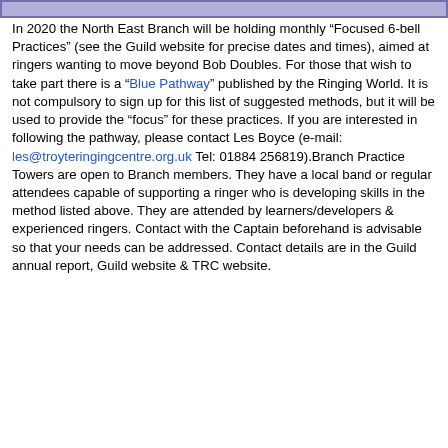In 2020 the North East Branch will be holding monthly “Focused 6-bell Practices” (see the Guild website for precise dates and times), aimed at ringers wanting to move beyond Bob Doubles. For those that wish to take part there is a “Blue Pathway” published by the Ringing World. It is not compulsory to sign up for this list of suggested methods, but it will be used to provide the “focus” for these practices. If you are interested in following the pathway, please contact Les Boyce (e-mail: les@troyteringingcentre.org.uk Tel: 01884 256819).Branch Practice Towers are open to Branch members. They have a local band or regular attendees capable of supporting a ringer who is developing skills in the method listed above. They are attended by learners/developers & experienced ringers. Contact with the Captain beforehand is advisable so that your needs can be addressed. Contact details are in the Guild annual report, Guild website & TRC website.